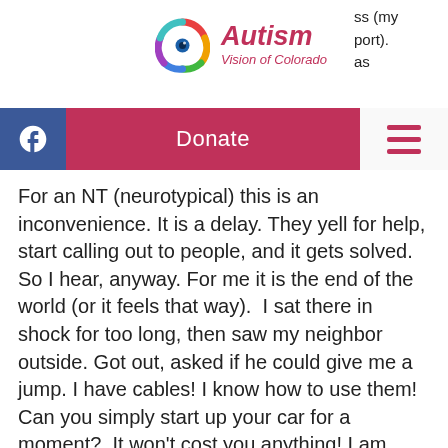[Figure (logo): Autism Vision of Colorado logo with colorful eye icon and pink brand name text]
ss (my
port).
as
[Figure (screenshot): Navigation bar with Facebook button, pink Donate button, and hamburger menu icon]
For an NT (neurotypical) this is an inconvenience. It is a delay. They yell for help, start calling out to people, and it gets solved. So I hear, anyway. For me it is the end of the world (or it feels that way).  I sat there in shock for too long, then saw my neighbor outside. Got out, asked if he could give me a jump. I have cables! I know how to use them! Can you simply start up your car for a moment?  It won't cost you anything! I am harmless - I am a nice neighbor! I smiled, I tried to be charming, I was in panic with my teeth clenched.  He